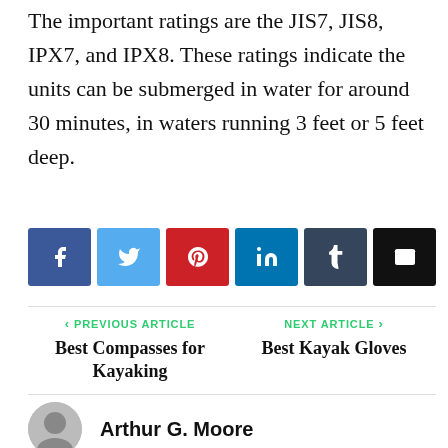The important ratings are the JIS7, JIS8, IPX7, and IPX8. These ratings indicate the units can be submerged in water for around 30 minutes, in waters running 3 feet or 5 feet deep.
[Figure (infographic): Social media share buttons: Facebook, Twitter, Pinterest, LinkedIn, Tumblr, Email]
< PREVIOUS ARTICLE
Best Compasses for Kayaking
NEXT ARTICLE >
Best Kayak Gloves
Arthur G. Moore